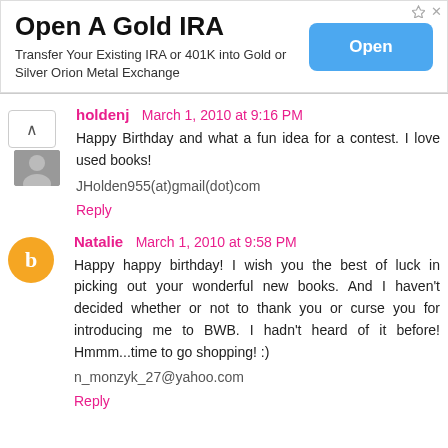[Figure (other): Advertisement banner: Open A Gold IRA. Transfer Your Existing IRA or 401K into Gold or Silver Orion Metal Exchange. Blue 'Open' button on the right.]
holdenj  March 1, 2010 at 9:16 PM
Happy Birthday and what a fun idea for a contest. I love used books!
JHolden955(at)gmail(dot)com
Reply
Natalie  March 1, 2010 at 9:58 PM
Happy happy birthday! I wish you the best of luck in picking out your wonderful new books. And I haven't decided whether or not to thank you or curse you for introducing me to BWB. I hadn't heard of it before! Hmmm...time to go shopping! :)
n_monzyk_27@yahoo.com
Reply